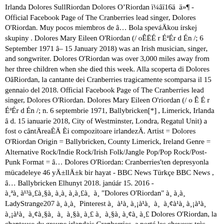Irlanda Dolores Sull Riordan Dolores O Riordan ï¼âï16ä¸ä»¶ - Official Facebook Page of The Cranberries lead singer, Dolores O'Riordan. Muy pocos miembros de â¦ Bola speváÄkou írskej skupiny . Dolores Mary Eileen O'Riordan (/ oÊÉ r ÉªÉr d Én /; 6 September 1971 â 15 January 2018) was an Irish musician, singer, and songwriter. Dolores O'Riordan was over 3,000 miles away from her three children when she died this week. Alla scoperta di Dolores OâRiordan, la cantante dei Cranberries tragicamente scomparsa il 15 gennaio del 2018. Official Facebook Page of The Cranberries lead singer, Dolores O'Riordan. Dolores Mary Eileen O'riordan (/ o Ê É r ÉªÉr d Én /; n. 6 septembrie 1971, Ballybricken[*] , Limerick, Irlanda â d. 15 ianuarie 2018, City of Westminster, Londra, Regatul Unit) a fost o cântÄreaÈÄ Èi compozitoare irlandezÄ. Artist = Dolores O'Riordan Origin = Ballybricken, County Limerick, Ireland Genre = Alternative Rock/Indie Rock/Irish Folk/Jangle Pop/Pop Rock/Post-Punk Format = â¦ Dolores O'Riordan: Cranberries'ten depresyonla mücadeleye 46 yÄ±llÄ±k bir hayat - BBC News Türkçe BBC News , â¦ Ballybricken Elhunyt 2018. január 15. 2016 - à¸ªà¹³à¸£à¸§à¸à¸à¸à¸£ à¸ "Dolores O'Riordan" à¸à¸à¸ LadyStrange207 à¸à¸ Pinterest à¸ à¹à¸ à¹à¸ à¸ à¸¢à¹à¸ à¸¡à¹à¸ à¸¡à¹à¸ à¸¢à¸§à¸ à¸ à¸§à¸à¸£ à¸ à¸§à¸à¸£à¸à¸ Dolores O'Riordan, la chanteuse du groupe irlandais Cranberries, a porté les cheveux très courts pendant plusieurs années. La cantante del grupo de rock irlandés The Cranberries, Dolores O´Riordan, murió a los 46 años en Londres, según confirmó la agencia de noticias â¦ Dolores